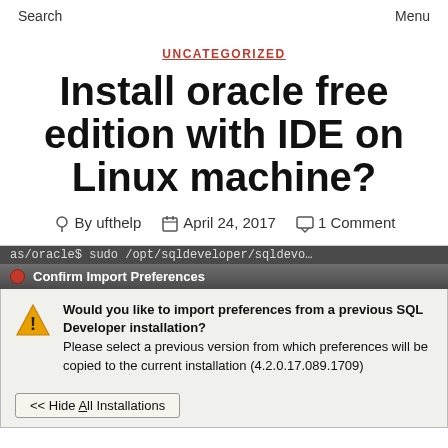Search   Menu
UNCATEGORIZED
Install oracle free edition with IDE on Linux machine?
By ufthelp   April 24, 2017   1 Comment
[Figure (screenshot): A Linux terminal partially visible at top, followed by an Ubuntu-style dialog box titled 'Confirm Import Preferences' with a warning icon asking: 'Would you like to import preferences from a previous SQL Developer installation? Please select a previous version from which preferences will be copied to the current installation (4.2.0.17.089.1709)' and a button '<< Hide All Installations']